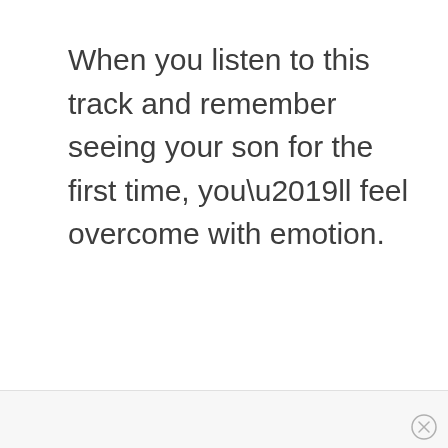When you listen to this track and remember seeing your son for the first time, you’ll feel overcome with emotion.